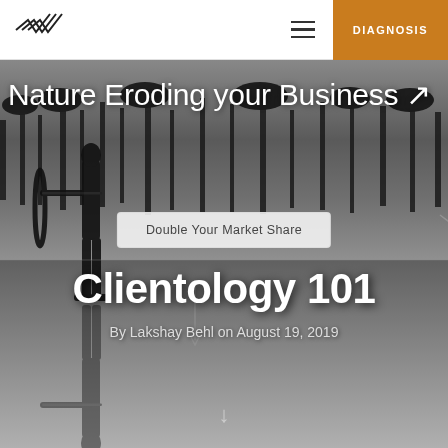Logo | Hamburger menu | DIAGNOSIS button
[Figure (photo): Black and white hero image showing silhouette of a person holding a bow and arrow, reflected in water, with trees overhead. Text overlays include a headline about 'Nature Eroding your Business', a 'Double Your Market Share' button, 'Clientology 101' title, and byline 'By Lakshay Behl on August 19, 2019'.]
Nature Eroding your Business
Double Your Market Share
Clientology 101
By Lakshay Behl on August 19, 2019